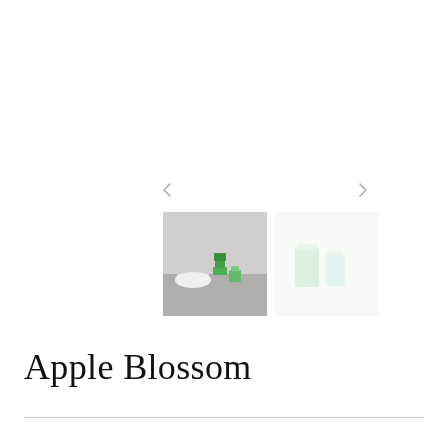[Figure (other): Navigation arrows (left and right chevrons) for an image carousel]
[Figure (photo): Two product thumbnail images side by side: left shows green soap bars and container near a bathtub on a grey surface; right shows green and white candles or cups in a soft-focus lighter style]
Apple Blossom